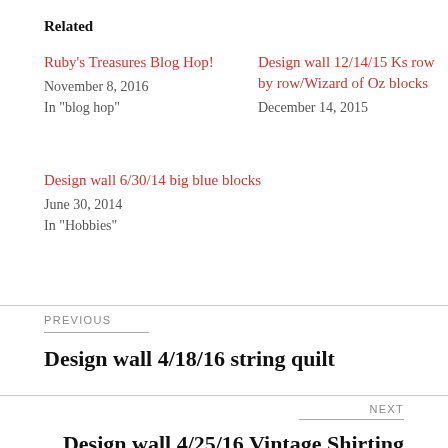Related
Ruby’s Treasures Blog Hop!
November 8, 2016
In "blog hop"
Design wall 12/14/15 Ks row by row/Wizard of Oz blocks
December 14, 2015
Design wall 6/30/14 big blue blocks
June 30, 2014
In "Hobbies"
PREVIOUS
Design wall 4/18/16 string quilt
NEXT
Design wall 4/25/16 Vintage Shirting blocks